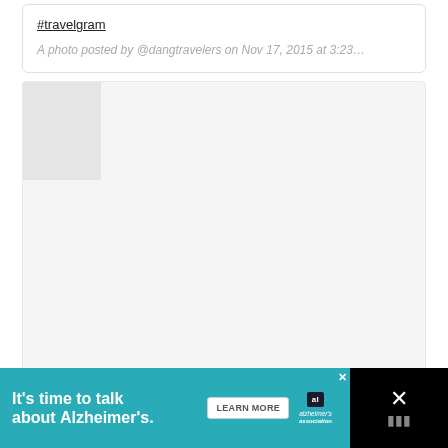#travelgram
A photo posted by @dangtravelers on Nov 17, 2015 at 3:23…
[Figure (screenshot): Embedded Instagram post placeholder box with a gray square in the top-left corner representing an avatar/thumbnail area, on a light gray background]
[Figure (infographic): Advertisement bar at the bottom: teal background with white text 'It's time to talk about Alzheimer's.' with a LEARN MORE button, Alzheimer's Association logo, and a close/dismiss icon on black background]